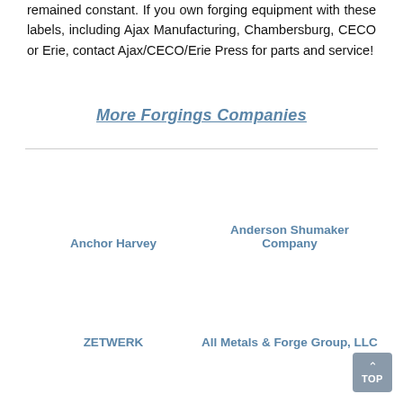remained constant. If you own forging equipment with these labels, including Ajax Manufacturing, Chambersburg, CECO or Erie, contact Ajax/CECO/Erie Press for parts and service!
More Forgings Companies
Anchor Harvey
Anderson Shumaker Company
ZETWERK
All Metals & Forge Group, LLC